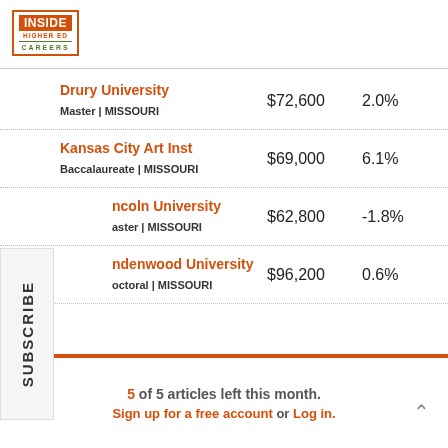Inside Higher Ed Careers
| Institution | Salary | Change |
| --- | --- | --- |
| Drury University | Master | MISSOURI | $72,600 | 2.0% |
| Kansas City Art Inst | Baccalaureate | MISSOURI | $69,000 | 6.1% |
| Lincoln University | Master | MISSOURI | $62,800 | -1.8% |
| Lindenwood University | Doctoral | MISSOURI | $96,200 | 0.6% |
5 of 5 articles left this month. Sign up for a free account or Log in.